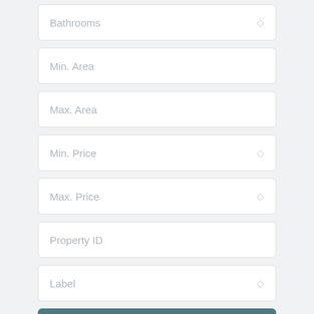[Figure (screenshot): Mobile app property search form with input fields: Bathrooms (dropdown), Min. Area (text), Max. Area (text), Min. Price (dropdown), Max. Price (dropdown), Property ID (text), Label (dropdown), and a Search button]
Bathrooms
Min. Area
Max. Area
Min. Price
Max. Price
Property ID
Label
Search